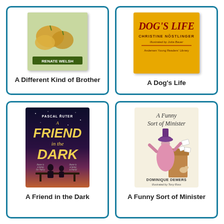[Figure (illustration): Book cover for 'A Different Kind of Brother' by Renate Welsh, showing vegetables and author name]
A Different Kind of Brother
[Figure (illustration): Book cover for "A Dog's Life" by Christine Nöstlinger, illustrated by Jutta Bauer, gold/yellow background with red title text]
A Dog's Life
[Figure (illustration): Book cover for 'A Friend in the Dark' by Pascal Ruter, dark night sky background with yellow stylized title text and two silhouettes]
A Friend in the Dark
[Figure (illustration): Book cover for 'A Funny Sort of Minister' by Dominique Demers, illustrated by Tony Ross, showing cartoon character at a podium]
A Funny Sort of Minister